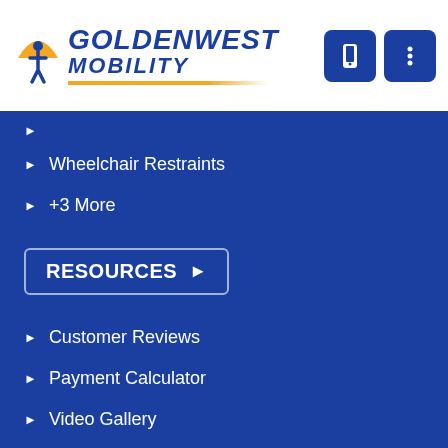[Figure (logo): Goldenwest Mobility logo with wheelchair icon, blue text and yellow arc/underline]
Wheelchair Restraints
+3 More
RESOURCES ▶
Customer Reviews
Payment Calculator
Video Gallery
NMEDA/QAP Member
FAQ